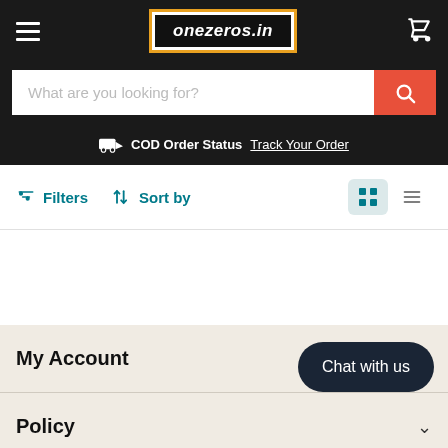onezeros.in
What are you looking for?
COD Order Status  Track Your Order
Filters  Sort by
My Account
Policy
Follow us
Chat with us